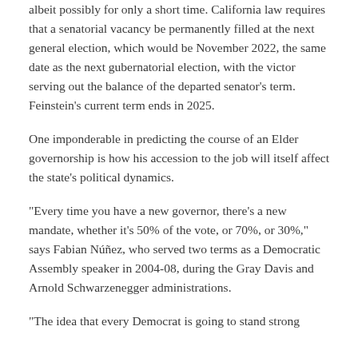albeit possibly for only a short time. California law requires that a senatorial vacancy be permanently filled at the next general election, which would be November 2022, the same date as the next gubernatorial election, with the victor serving out the balance of the departed senator's term. Feinstein's current term ends in 2025.
One imponderable in predicting the course of an Elder governorship is how his accession to the job will itself affect the state's political dynamics.
“Every time you have a new governor, there’s a new mandate, whether it’s 50% of the vote, or 70%, or 30%,” says Fabian Núñez, who served two terms as a Democratic Assembly speaker in 2004-08, during the Gray Davis and Arnold Schwarzenegger administrations.
“The idea that every Democrat is going to stand strong